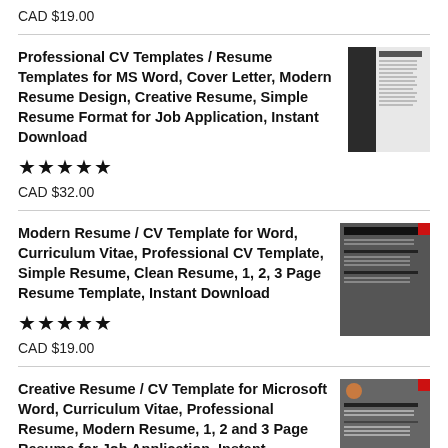CAD $19.00
Professional CV Templates / Resume Templates for MS Word, Cover Letter, Modern Resume Design, Creative Resume, Simple Resume Format for Job Application, Instant Download
★★★★★
CAD $32.00
Modern Resume / CV Template for Word, Curriculum Vitae, Professional CV Template, Simple Resume, Clean Resume, 1, 2, 3 Page Resume Template, Instant Download
★★★★★
CAD $19.00
Creative Resume / CV Template for Microsoft Word, Curriculum Vitae, Professional Resume, Modern Resume, 1, 2 and 3 Page Resume for Job Application, Instant Download
★★★★★